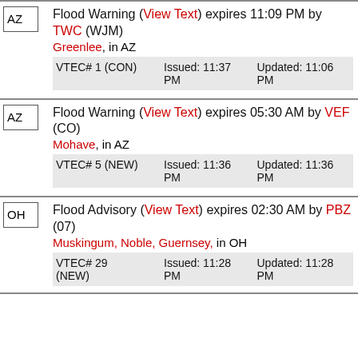AZ | Flood Warning (View Text) expires 11:09 PM by TWC (WJM) | Greenlee, in AZ | VTEC# 1 (CON) Issued: 11:37 PM Updated: 11:06 PM
AZ | Flood Warning (View Text) expires 05:30 AM by VEF (CO) | Mohave, in AZ | VTEC# 5 (NEW) Issued: 11:36 PM Updated: 11:36 PM
OH | Flood Advisory (View Text) expires 02:30 AM by PBZ (07) | Muskingum, Noble, Guernsey, in OH | VTEC# 29 (NEW) Issued: 11:28 PM Updated: 11:28 PM